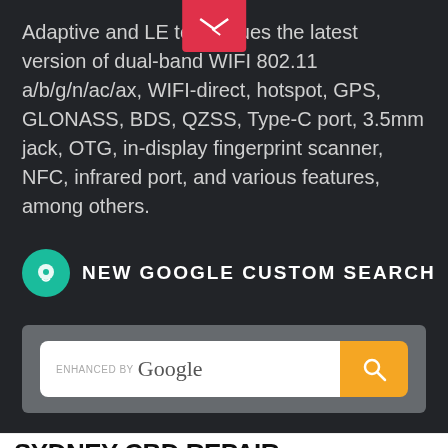Adaptive and LE techniques the latest version of dual-band WIFI 802.11 a/b/g/n/ac/ax, WIFI-direct, hotspot, GPS, GLONASS, BDS, QZSS, Type-C port, 3.5mm jack, OTG, in-display fingerprint scanner, NFC, infrared port, and various features, among others.
NEW GOOGLE CUSTOM SEARCH
[Figure (screenshot): Google Custom Search widget: a white search input bar with 'ENHANCED BY Google' label and an orange search button with magnifying glass icon, on a grey background.]
SYDNEY CBD REPAIR CENTRE MENU